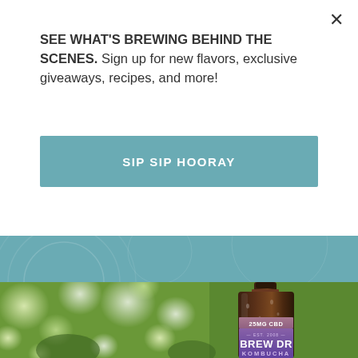SEE WHAT'S BREWING BEHIND THE SCENES. Sign up for new flavors, exclusive giveaways, recipes, and more!
SIP SIP HOORAY
[Figure (photo): A kombucha bottle with '25MG CBD', 'EST. 2008', 'BREW DR', 'KOMBUCHA' label, set against a blurred green bokeh background of trees/foliage]